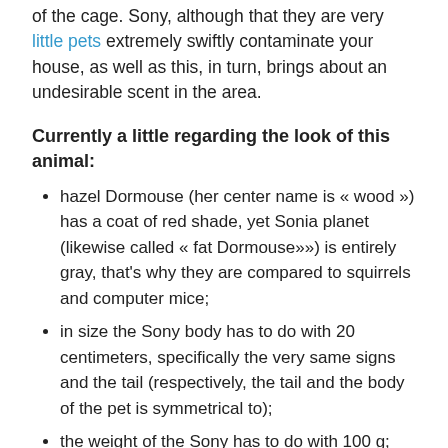of the cage. Sony, although that they are very little pets extremely swiftly contaminate your house, as well as this, in turn, brings about an undesirable scent in the area.
Currently a little regarding the look of this animal:
hazel Dormouse (her center name is « wood ») has a coat of red shade, yet Sonia planet (likewise called « fat Dormouse»») is entirely gray, that's why they are compared to squirrels and computer mice;
in size the Sony body has to do with 20 centimeters, specifically the very same signs and the tail (respectively, the tail and the body of the pet is symmetrical to);
the weight of the Sony has to do with 100 g;
animal ears are rounded.